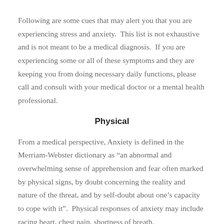Following are some cues that may alert you that you are experiencing stress and anxiety.  This list is not exhaustive and is not meant to be a medical diagnosis.  If you are experiencing some or all of these symptoms and they are keeping you from doing necessary daily functions, please call and consult with your medical doctor or a mental health professional.
Physical
From a medical perspective, Anxiety is defined in the Merriam-Webster dictionary as “an abnormal and overwhelming sense of apprehension and fear often marked by physical signs, by doubt concerning the reality and nature of the threat, and by self-doubt about one’s capacity to cope with it”.  Physical responses of anxiety may include racing heart, chest pain, shortness of breath,